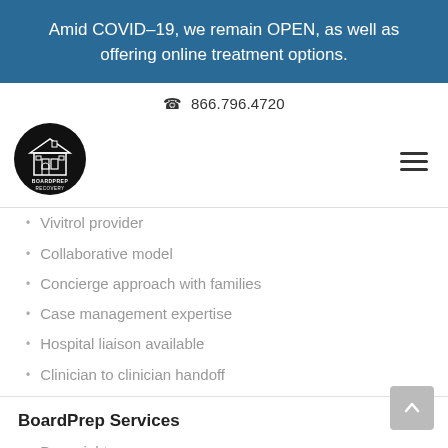Amid COVID–19, we remain OPEN, as well as offering online treatment options.
866.796.4720
[Figure (logo): BoardPrep Recovery circular logo with building icon on black background]
Vivitrol provider
Collaborative model
Concierge approach with families
Case management expertise
Hospital liaison available
Clinician to clinician handoff
BoardPrep Services
Day–night
Outpatient